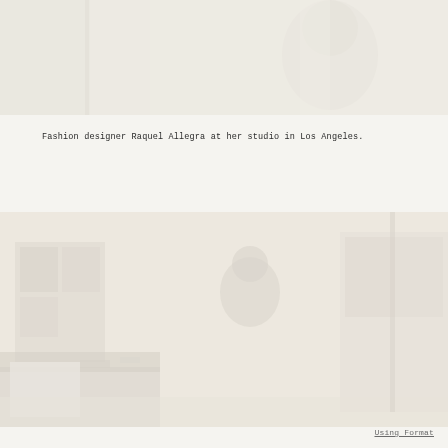[Figure (photo): Faint washed-out photograph of a person (fashion designer Raquel Allegra) at a studio, top portion showing partial figure against light background]
Fashion designer Raquel Allegra at her studio in Los Angeles.
[Figure (photo): Faint washed-out photograph of a studio interior in Los Angeles showing a seated person among studio furnishings and shelving]
Using Format